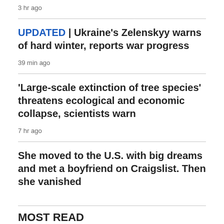3 hr ago
UPDATED | Ukraine's Zelenskyy warns of hard winter, reports war progress
39 min ago
'Large-scale extinction of tree species' threatens ecological and economic collapse, scientists warn
7 hr ago
She moved to the U.S. with big dreams and met a boyfriend on Craigslist. Then she vanished
MOST READ